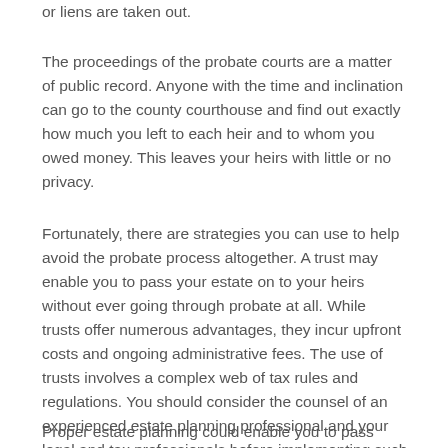or liens are taken out.
The proceedings of the probate courts are a matter of public record. Anyone with the time and inclination can go to the county courthouse and find out exactly how much you left to each heir and to whom you owed money. This leaves your heirs with little or no privacy.
Fortunately, there are strategies you can use to help avoid the probate process altogether. A trust may enable you to pass your estate on to your heirs without ever going through probate at all. While trusts offer numerous advantages, they incur upfront costs and ongoing administrative fees. The use of trusts involves a complex web of tax rules and regulations. You should consider the counsel of an experienced estate planning professional and your legal and tax professionals before implementing such strategies.
Proper estate planning could enable you to pass